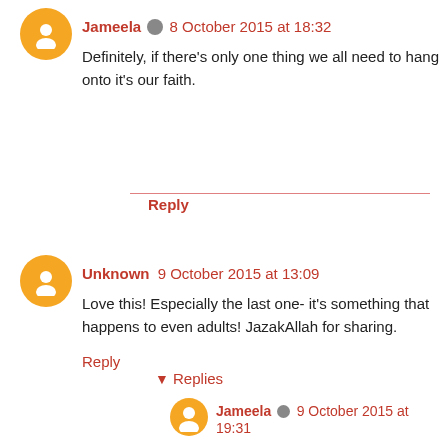Jameela · 8 October 2015 at 18:32
Definitely, if there's only one thing we all need to hang onto it's our faith.
Reply
Unknown  9 October 2015 at 13:09
Love this! Especially the last one- it's something that happens to even adults! JazakAllah for sharing.
Reply
▾ Replies
Jameela · 9 October 2015 at 19:31
Wa iyaki. Thanks for taking time to comment.
Reply